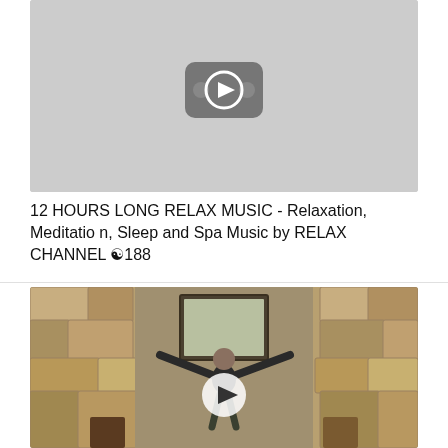[Figure (screenshot): YouTube video thumbnail showing a gray placeholder with YouTube play button icon]
12 HOURS LONG RELAX MUSIC - Relaxation, Meditation, Sleep and Spa Music by RELAX CHANNEL ☯188
[Figure (screenshot): Video thumbnail showing a man with arms raised wide in front of a stone wall fireplace background, with a circular play button overlay]